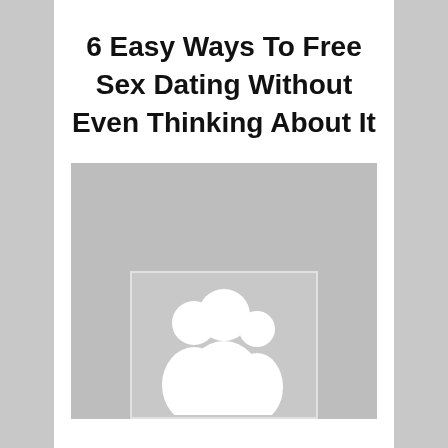6 Easy Ways To Free Sex Dating Without Even Thinking About It
[Figure (illustration): A grey placeholder image block with a smaller inner grey box overlapping the bottom center, containing a white silhouette icon of two people (a couple or group).]